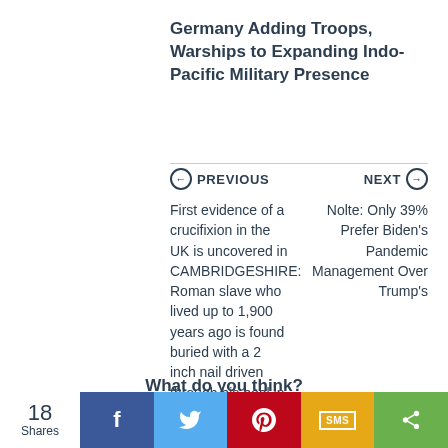Germany Adding Troops, Warships to Expanding Indo-Pacific Military Presence
PREVIOUS
NEXT
First evidence of a crucifixion in the UK is uncovered in CAMBRIDGESHIRE: Roman slave who lived up to 1,900 years ago is found buried with a 2 inch nail driven through his heel in world's 'best example' of the capital punishment
Nolte: Only 39% Prefer Biden's Pandemic Management Over Trump's
What do you think?
18 Shares